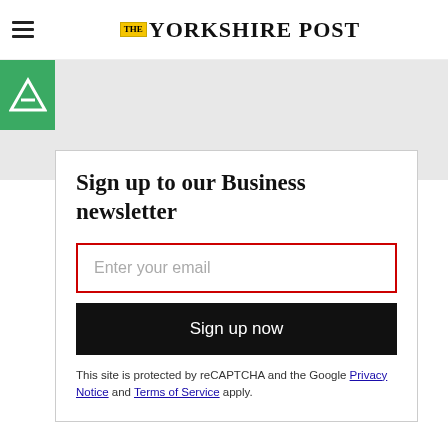THE YORKSHIRE POST
Sign up to our Business newsletter
Enter your email
Sign up now
This site is protected by reCAPTCHA and the Google Privacy Notice and Terms of Service apply.